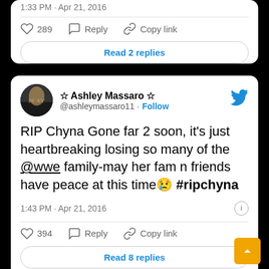1:33 PM · Apr 21, 2016
289   Reply   Copy link
Read 2 replies
[Figure (screenshot): Avatar image of Ashley Massaro]
☆ Ashley Massaro ☆ @ashleymassaro11 · Follow
RIP Chyna Gone far 2 soon, it's just heartbreaking losing so many of the @wwe family-may her fam n friends have peace at this time😢 #ripchyna
1:43 PM · Apr 21, 2016
394   Reply   Copy link
Read 8 replies